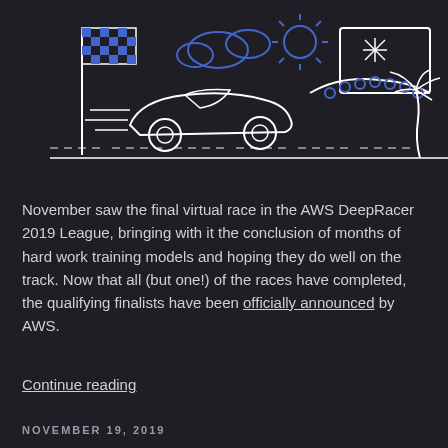[Figure (illustration): Line art illustration on dark background showing a racing car speeding along a road, a checkered race flag on a pole, clouds and a sun, a Las Vegas welcome sign with palm tree, and a dashed road line. Drawn in white and blue outlines.]
November saw the final virtual race in the AWS DeepRacer 2019 League, bringing with it the conclusion of months of hard work training models and hoping they do well on the track. Now that all (but one!) of the races have completed, the qualifying finalists have been officially announced by AWS.
Continue reading
NOVEMBER 19, 2019